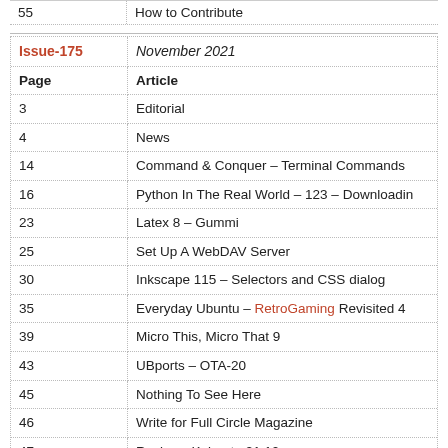| Page | Article |
| --- | --- |
| Issue-175 | November 2021 |
| Page | Article |
| 3 | Editorial |
| 4 | News |
| 14 | Command & Conquer – Terminal Commands |
| 16 | Python In The Real World – 123 – Downloadin… |
| 23 | Latex 8 – Gummi |
| 25 | Set Up A WebDAV Server |
| 30 | Inkscape 115 – Selectors and CSS dialog |
| 35 | Everyday Ubuntu – RetroGaming Revisited 4 |
| 39 | Micro This, Micro That 9 |
| 43 | UBports – OTA-20 |
| 45 | Nothing To See Here |
| 46 | Write for Full Circle Magazine |
| 47 | Review –Kubuntu 21.10 |
| 51 | Review – BlueMail |
| 53 | Letters – Back next month |